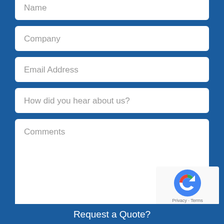Name
Company
Email Address
How did you hear about us?
Comments
Request a Quote?